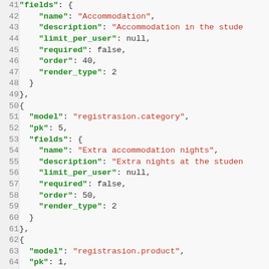[Figure (screenshot): Code editor screenshot showing JSON data lines 41-65 with syntax highlighting: green for keys, red for string values, black for punctuation and numbers.]